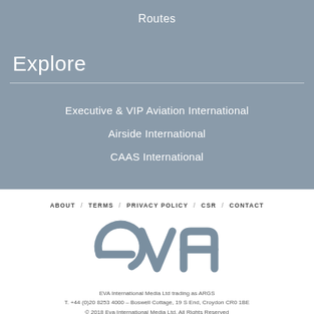Routes
Explore
Executive & VIP Aviation International
Airside International
CAAS International
ABOUT / TERMS / PRIVACY POLICY / CSR / CONTACT
[Figure (logo): EVA International Media logo - stylized 'eva' text in grey]
EVA International Media Ltd trading as ARGS
T. +44 (0)20 8253 4000 – Boswell Cottage, 19 S End, Croydon CR0 1BE
© 2018 Eva International Media Ltd. All Rights Reserved